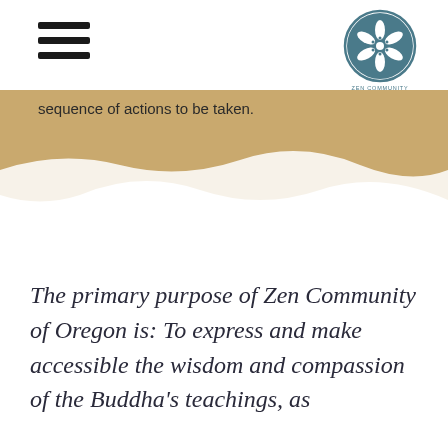[Figure (logo): Zen Community of Oregon circular logo with flower/leaf design in teal/steel blue, with text 'ZEN COMMUNITY OF OREGON' below]
sequence of actions to be taken.
The primary purpose of Zen Community of Oregon is: To express and make accessible the wisdom and compassion of the Buddha's teachings, as